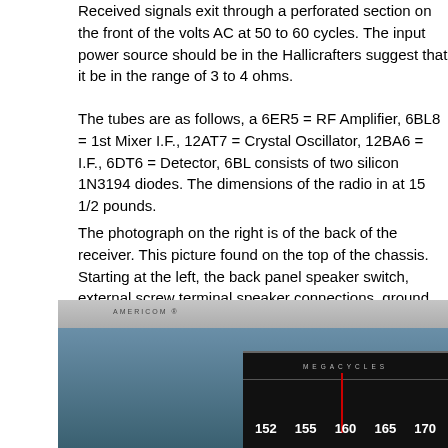Received signals exit through a perforated section on the front of the volts AC at 50 to 60 cycles. The input power source should be in the Hallicrafters suggest that it be in the range of 3 to 4 ohms.
The tubes are as follows, a 6ER5 = RF Amplifier, 6BL8 = 1st Mixer I.F., 12AT7 = Crystal Oscillator, 12BA6 = I.F., 6DT6 = Detector, 6BL consists of two silicon 1N3194 diodes. The dimensions of the radio in at 15 1/2 pounds.
The photograph on the right is of the back of the receiver. This picture found on the top of the chassis. Starting at the left, the back panel speaker switch, external screw terminal speaker connections, ground paper sticker and an SO-239 connection on the right. Hallicrafters used for the SO-239 connector.
A very similar receiver is the Hallicrafters CRX-1 which also receives
[Figure (photo): Close-up photograph of a radio receiver dial showing megacycles frequency scale with numbers 152, 155, 160, 165, 170 visible, with a red tuning needle indicator. The dial has a dark background with white numbers, framed by a silver/chrome bezel. Text 'AMERICOM' visible at top left.]